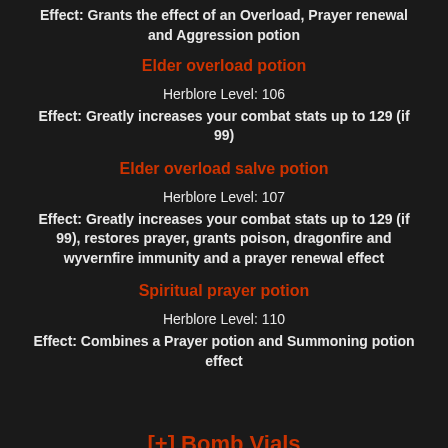Effect: Grants the effect of an Overload, Prayer renewal and Aggression potion
Elder overload potion
Herblore Level: 106
Effect: Greatly increases your combat stats up to 129 (if 99)
Elder overload salve potion
Herblore Level: 107
Effect: Greatly increases your combat stats up to 129 (if 99), restores prayer, grants poison, dragonfire and wyvernfire immunity and a prayer renewal effect
Spiritual prayer potion
Herblore Level: 110
Effect: Combines a Prayer potion and Summoning potion effect
[+] Bomb Vials
- Bombs have made their way to Ataraxia! You can now use these